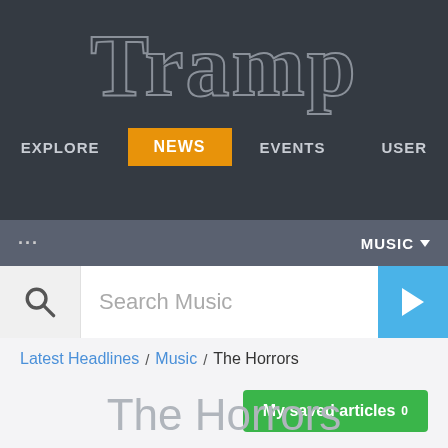Tramp
Explore  News  Events  User
... MUSIC
Search Music
Latest Headlines / Music / The Horrors
My saved articles 0
The Horrors